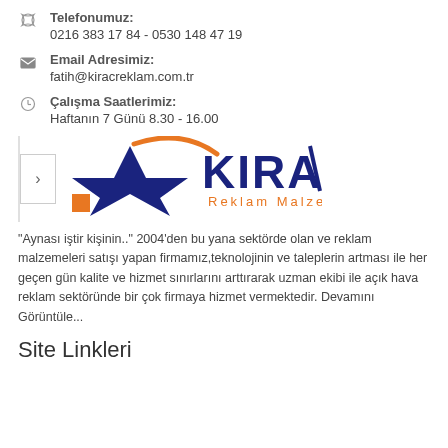Telefonumuz:
0216 383 17 84 - 0530 148 47 19
Email Adresimiz:
fatih@kiracreklam.com.tr
Çalışma Saatlerimiz:
Haftanın 7 Günü 8.30 - 16.00
[Figure (logo): Kıraç Reklam Malzemeleri logo with blue star/arrow emblem and orange accent]
"Aynası iştir kişinin.." 2004'den bu yana sektörde olan ve reklam malzemeleri satışı yapan firmamız,teknolojinin ve taleplerin artması ile her geçen gün kalite ve hizmet sınırlarını arttırarak uzman ekibi ile açık hava reklam sektöründe bir çok firmaya hizmet vermektedir. Devamını Görüntüle...
Site Linkleri